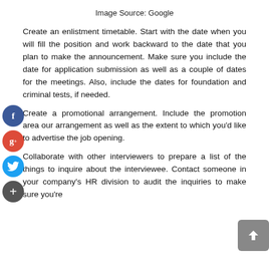Image Source: Google
Create an enlistment timetable. Start with the date when you will fill the position and work backward to the date that you plan to make the announcement. Make sure you include the date for application submission as well as a couple of dates for the meetings. Also, include the dates for foundation and criminal tests, if needed.
Create a promotional arrangement. Include the promotion area our arrangement as well as the extent to which you'd like to advertise the job opening.
Collaborate with other interviewers to prepare a list of the things to inquire about the interviewee. Contact someone in your company's HR division to audit the inquiries to make sure you're